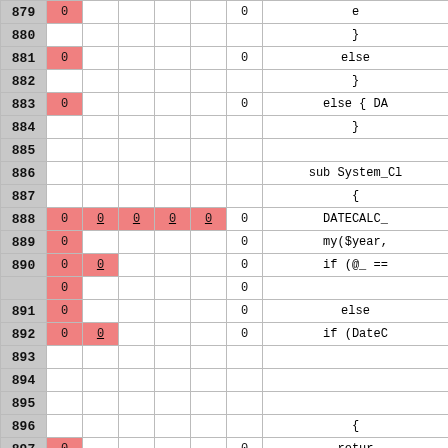| Line | Cov1 | Cov2 | Cov3 | Cov4 | Cov5 | Total | Code |
| --- | --- | --- | --- | --- | --- | --- | --- |
| 879 | 0 |  |  |  |  | 0 | e |
| 880 |  |  |  |  |  |  | } |
| 881 | 0 |  |  |  |  | 0 | else |
| 882 |  |  |  |  |  |  | } |
| 883 | 0 |  |  |  |  | 0 | else { DA |
| 884 |  |  |  |  |  |  | } |
| 885 |  |  |  |  |  |  |  |
| 886 |  |  |  |  |  |  | sub System_Cl |
| 887 |  |  |  |  |  |  | { |
| 888 | 0 | 0 | 0 | 0 | 0 | 0 | DATECALC_ |
| 889 | 0 |  |  |  |  | 0 | my($year, |
| 890 | 0 | 0 |  |  |  | 0 | if (@_ == |
|  | 0 |  |  |  |  | 0 |  |
| 891 | 0 |  |  |  |  | 0 | else |
| 892 | 0 | 0 |  |  |  | 0 | if (DateC |
| 893 |  |  |  |  |  |  |  |
| 894 |  |  |  |  |  |  |  |
| 895 |  |  |  |  |  |  |  |
| 896 |  |  |  |  |  |  | { |
| 897 | 0 |  |  |  |  | 0 | retur |
| 898 |  |  |  |  |  |  | } |